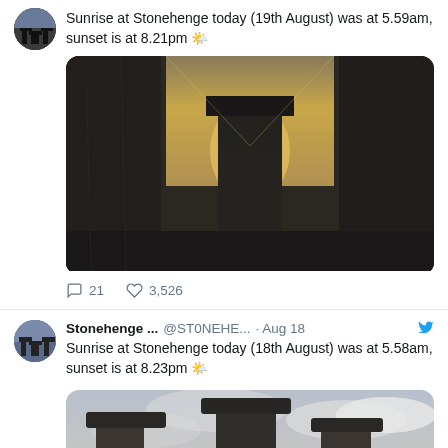Sunrise at Stonehenge today (19th August) was at 5.59am, sunset is at 8.21pm 🌤
[Figure (photo): Photo of Stonehenge stones at sunrise/sunset, golden light visible through the stones]
21  3,526
Stonehenge ... @ST0NEHE... · Aug 18
Sunrise at Stonehenge today (18th August) was at 5.58am, sunset is at 8.23pm 🌤
[Figure (photo): Photo of Stonehenge stones against a cloudy sky]